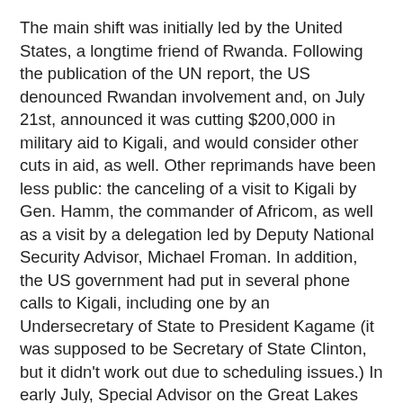The main shift was initially led by the United States, a longtime friend of Rwanda. Following the publication of the UN report, the US denounced Rwandan involvement and, on July 21st, announced it was cutting $200,000 in military aid to Kigali, and would consider other cuts in aid, as well. Other reprimands have been less public: the canceling of a visit to Kigali by Gen. Hamm, the commander of Africom, as well as a visit by a delegation led by Deputy National Security Advisor, Michael Froman. In addition, the US government had put in several phone calls to Kigali, including one by an Undersecretary of State to President Kagame (it was supposed to be Secretary of State Clinton, but it didn't work out due to scheduling issues.) In early July, Special Advisor on the Great Lakes Barry Walkley visited Kigali himself and met with Foreign Minister Louise Mushikiwabo, denouncing Rwandan support to the M23.
While Bill Clinton was effusive in praise for Rwanda last week during a visit, as was Tony Blair, very few western embassies in the Rwandan capital still doubt that their hosts are supporting the M23. This week, there were reports from diplomats that the United Kingdom, which in general has